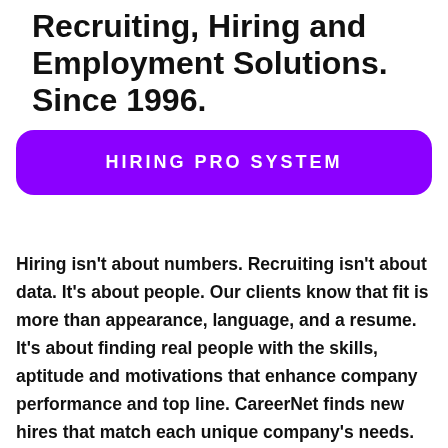Recruiting, Hiring and Employment Solutions. Since 1996.
HIRING PRO SYSTEM
Hiring isn't about numbers. Recruiting isn't about data. It's about people. Our clients know that fit is more than appearance, language, and a resume. It's about finding real people with the skills, aptitude and motivations that enhance company performance and top line. CareerNet finds new hires that match each unique company's needs. We do it faster and better than others and at a cost that keeps our client's